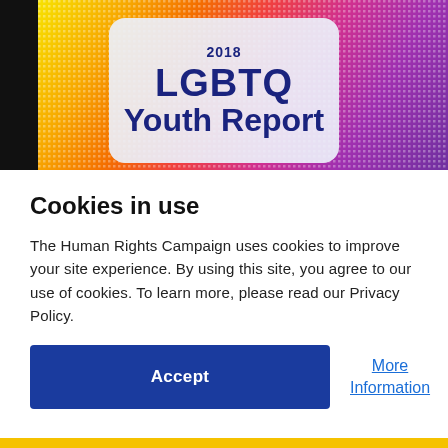[Figure (illustration): Top portion of a website screenshot showing a colorful rainbow-textured background with a card overlay displaying '2018 LGBTQ Youth Report' text, and a black vertical bar on the left edge.]
Cookies in use
The Human Rights Campaign uses cookies to improve your site experience. By using this site, you agree to our use of cookies. To learn more, please read our Privacy Policy.
Accept
More Information